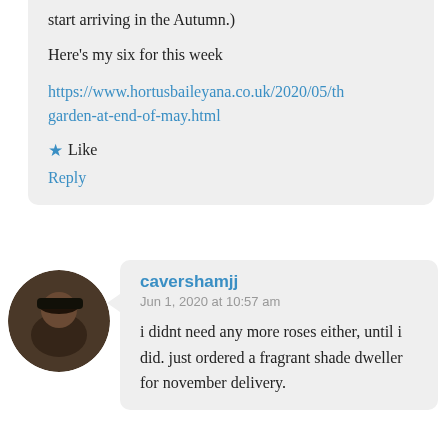...remember once the catalogues start arriving in the Autumn.)
Here's my six for this week
https://www.hortusbaileyana.co.uk/2020/05/th garden-at-end-of-may.html
★ Like
Reply
[Figure (photo): Circular avatar photo of a person wearing a cap, dark toned image]
cavershamjj
Jun 1, 2020 at 10:57 am
i didnt need any more roses either, until i did. just ordered a fragrant shade dweller for november delivery.